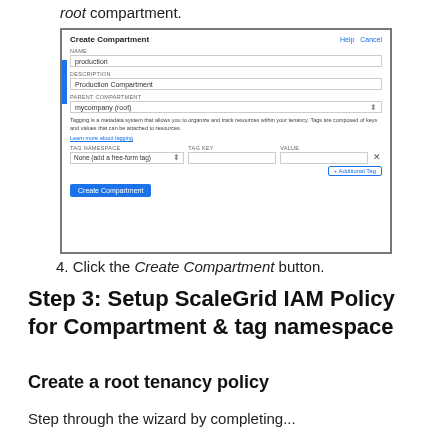root compartment.
[Figure (screenshot): Screenshot of Create Compartment dialog with fields: NAME (production), DESCRIPTION (Production Compartment), PARENT COMPARTMENT (mycompany (root)), tagging info text, Learn more about tagging link, TAG NAMESPACE / TAG KEY / VALUE fields, + Additional Tag button, and Create Compartment button.]
4. Click the Create Compartment button.
Step 3: Setup ScaleGrid IAM Policy for Compartment & tag namespace
Create a root tenancy policy
Step through the wizard by completing...